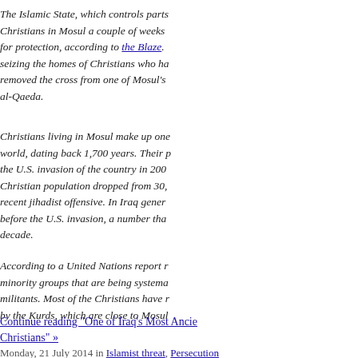The Islamic State, which controls parts of Iraq and Syria, gave Christians in Mosul a couple of weeks ago an ultimatum to pay a tax for protection, according to the Blaze. It is also reportedly seizing the homes of Christians who have fled, and ISIS fighters removed the cross from one of Mosul's oldest churches and raised al-Qaeda.
Christians living in Mosul make up one of the oldest in the world, dating back 1,700 years. Their population shrank after the U.S. invasion of the country in 2003. Mosul's Christian population dropped from 30,000 before the recent jihadist offensive. In Iraq generally, there were 1.5 million before the U.S. invasion, a number that has dropped by half in a decade.
According to a United Nations report released Tuesday, minority groups that are being systematically targeted by militants. Most of the Christians have moved to areas controlled by the Kurds, which are close to Mosul.
Continue reading "One of Iraq's Most Ancient Christians" »
Monday, 21 July 2014 in Islamist threat, Persecution